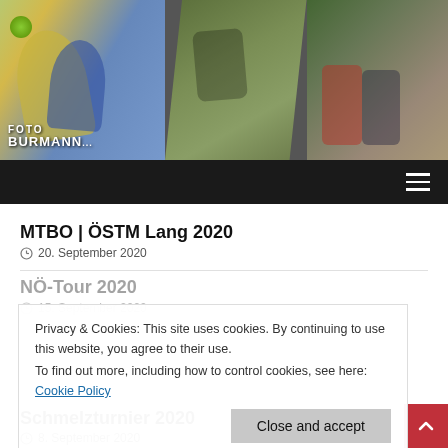[Figure (photo): Sports collage header image with three panels: handball player throwing ball on red track, mountain bike rider on forest trail, biathlon athletes running. 'FOTO BURMANN' watermark bottom-left.]
Navigation bar with hamburger menu icon
MTBO | ÖSTM Lang 2020
20. September 2020
NÖ-Tour 2020
15. September 2020
Privacy & Cookies: This site uses cookies. By continuing to use this website, you agree to their use.
To find out more, including how to control cookies, see here:
Cookie Policy
Close and accept
Schmelzturnier 2020
8. September 2020